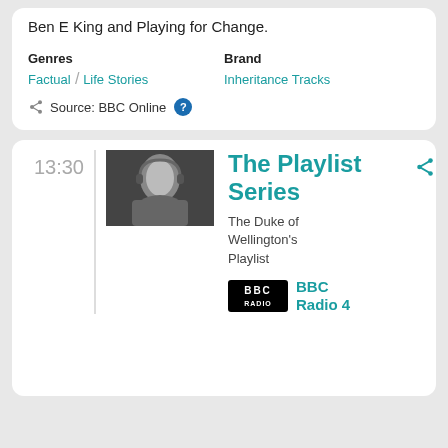Ben E King and Playing for Change.
Genres
Factual / Life Stories
Brand
Inheritance Tracks
Source: BBC Online
13:30
The Playlist Series
The Duke of Wellington's Playlist
BBC Radio 4